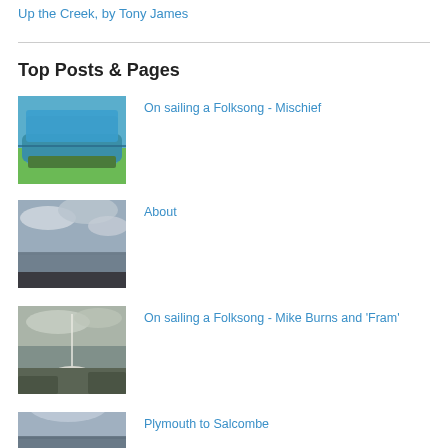Up the Creek, by Tony James
Top Posts & Pages
[Figure (photo): Blue boat hull on land, outdoor storage]
On sailing a Folksong - Mischief
[Figure (photo): Seascape with cloudy sky, viewed from inside boat]
About
[Figure (photo): Harbour scene with sailboat and mast, muted autumn colours]
On sailing a Folksong - Mike Burns and 'Fram'
[Figure (photo): Coastal scene with cloudy sky]
Plymouth to Salcombe